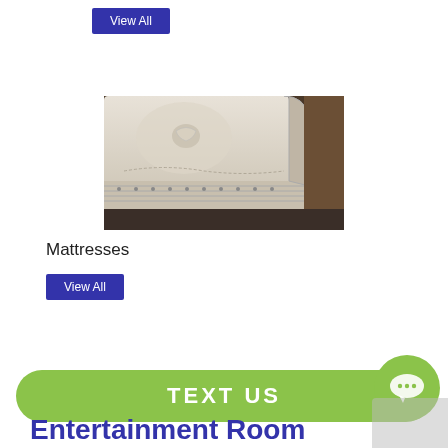[Figure (other): Blue 'View All' button at top of page]
[Figure (photo): Close-up photograph of a white pillow-top mattress corner showing quilted fabric and decorative buttons/studs on the side]
Mattresses
[Figure (other): Blue 'View All' button below Mattresses label]
[Figure (other): Green 'TEXT US' chat bar at bottom with speech bubble icon]
Entertainment Room